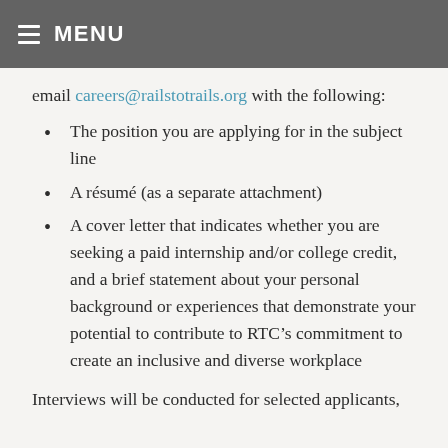MENU
email careers@railstotrails.org with the following:
The position you are applying for in the subject line
A résumé (as a separate attachment)
A cover letter that indicates whether you are seeking a paid internship and/or college credit, and a brief statement about your personal background or experiences that demonstrate your potential to contribute to RTC’s commitment to create an inclusive and diverse workplace
Interviews will be conducted for selected applicants,